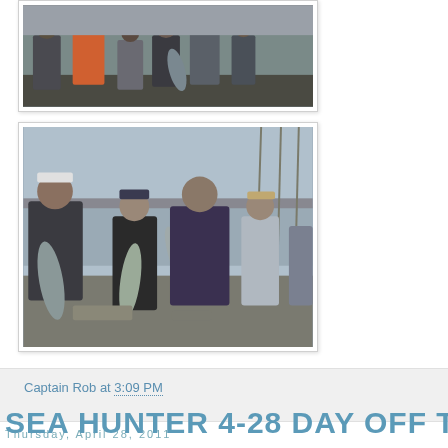[Figure (photo): Group of people standing on a fishing boat deck, one person wearing orange overalls, others in casual clothes, with fishing equipment visible]
[Figure (photo): Several anglers on a fishing boat holding large striped bass/fish, with fishing rods and open water visible in the background]
Captain Rob at 3:09 PM
Thursday, April 28, 2011
SEA HUNTER 4-28 DAY OFF TODAY